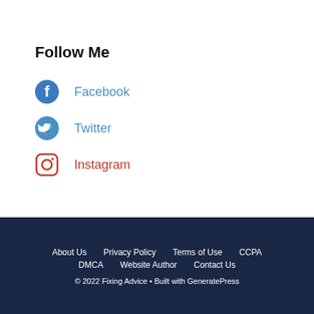Follow Me
Facebook
Twitter
Instagram
About Us  Privacy Policy  Terms of Use  CCPA  DMCA  Website Author  Contact Us  © 2022 Fixing Advice • Built with GeneratePress